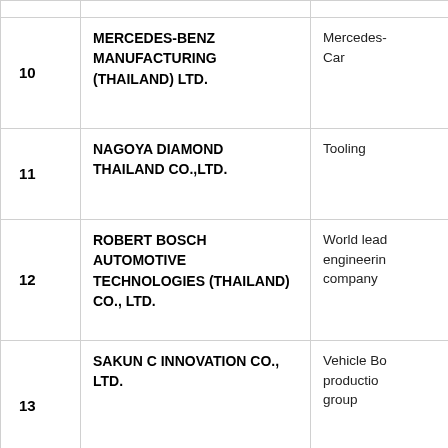| No. | Company Name | Description |
| --- | --- | --- |
| 10 | MERCEDES-BENZ MANUFACTURING (THAILAND) LTD. | Mercedes-Benz Car |
| 11 | NAGOYA DIAMOND THAILAND CO.,LTD. | Tooling |
| 12 | ROBERT BOSCH AUTOMOTIVE TECHNOLOGIES (THAILAND) CO., LTD. | World leading engineering company |
| 13 | SAKUN C INNOVATION CO., LTD. | Vehicle Body production group |
| 14 | TOFUJI (THAILAND) CO., LTD. | Develop and electr... |
| 15 | TOKYO SME SUPPORT CENTER | Business... |